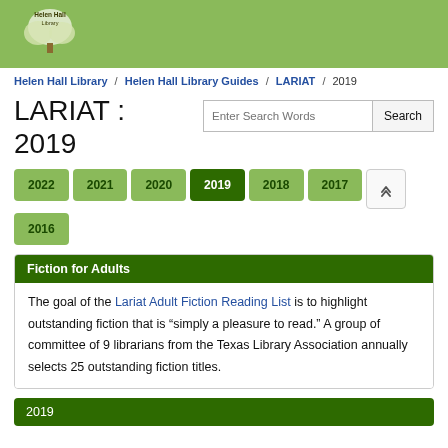[Figure (logo): Helen Hall Library logo with tree icon on green background]
Helen Hall Library / Helen Hall Library Guides / LARIAT / 2019
LARIAT : 2019
Enter Search Words  Search
2022
2021
2020
2019
2018
2017
2016
Fiction for Adults
The goal of the Lariat Adult Fiction Reading List is to highlight outstanding fiction that is “simply a pleasure to read.” A group of committee of 9 librarians from the Texas Library Association annually selects 25 outstanding fiction titles.
2019